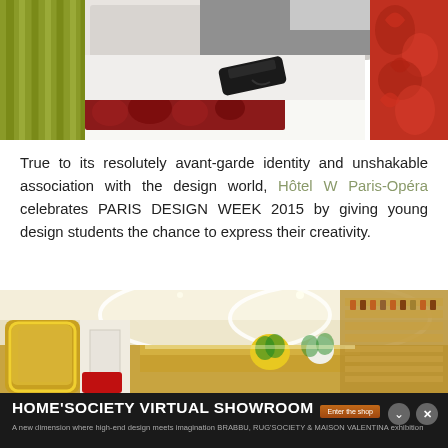[Figure (photo): Hotel bedroom photo showing white bed with red floral runner, orange/red patterned pillow, black telephone, and olive/yellow curtains]
True to its resolutely avant-garde identity and unshakable association with the design world, Hôtel W Paris-Opéra celebrates PARIS DESIGN WEEK 2015 by giving young design students the chance to express their creativity.
[Figure (photo): Hotel bar/lobby interior with large circular ceiling light rings, ornate gold mirror, bar counter, floral arrangements, and gold shelving]
HOME'SOCIETY VIRTUAL SHOWROOM — A new dimension where high-end design meets imagination BRABBU, RUG'SOCIETY & MAISON VALENTINA exhibition